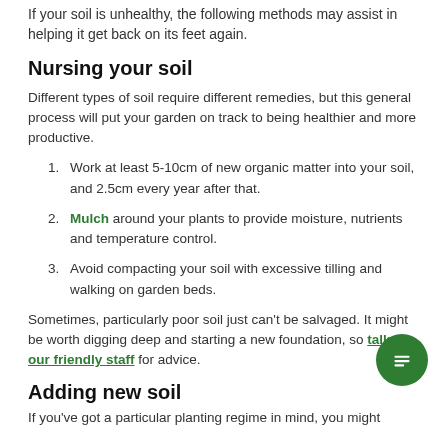If your soil is unhealthy, the following methods may assist in helping it get back on its feet again.
Nursing your soil
Different types of soil require different remedies, but this general process will put your garden on track to being healthier and more productive.
Work at least 5-10cm of new organic matter into your soil, and 2.5cm every year after that.
Mulch around your plants to provide moisture, nutrients and temperature control.
Avoid compacting your soil with excessive tilling and walking on garden beds.
Sometimes, particularly poor soil just can't be salvaged. It might be worth digging deep and starting a new foundation, so talk to our friendly staff for advice.
Adding new soil
If you've got a particular planting regime in mind, you might